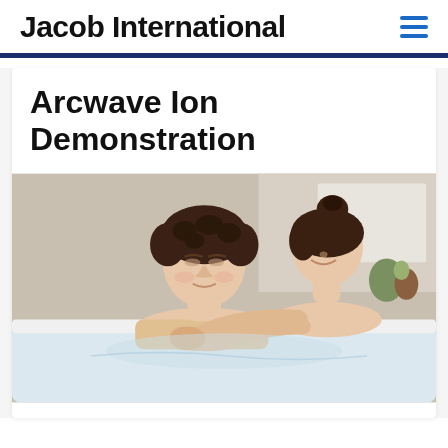Jacob International
Arcwave Ion Demonstration
[Figure (photo): A couple in a bathtub or hot tub setting. A man with curly dark hair is relaxing with eyes closed, while a woman with her hair in a bun leans over him from behind, smiling. The background shows a tiled bathroom environment.]